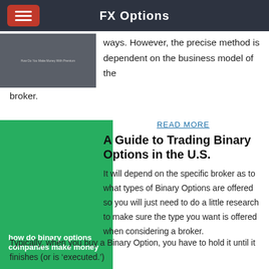FX Options
ways. However, the precise method is dependent on the business model of the broker.
[Figure (illustration): Dark gray thumbnail image with small text reading 'How Do You Make Money With Premium']
READ MORE
A Guide to Trading Binary Options in the U.S.
[Figure (illustration): Green book cover image with white bold text reading 'how do binary options companies make money']
It will depend on the specific broker as to what types of Binary Options are offered so you will just need to do a little research to make sure the type you want is offered when considering a broker. Typically, when you buy a Binary Option, you have to hold it until it finishes (or is ‘executed.’)